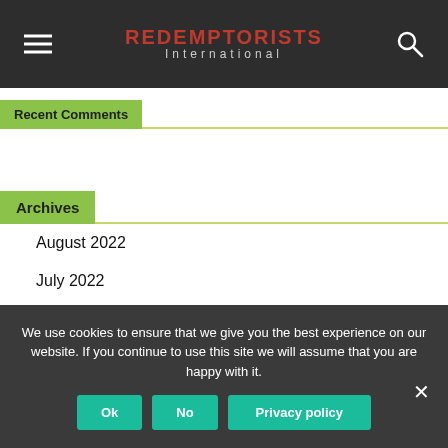REDEMPTORISTS International
Recent Comments
Archives
August 2022
July 2022
June 2022
May 2022
April 2022
We use cookies to ensure that we give you the best experience on our website. If you continue to use this site we will assume that you are happy with it.